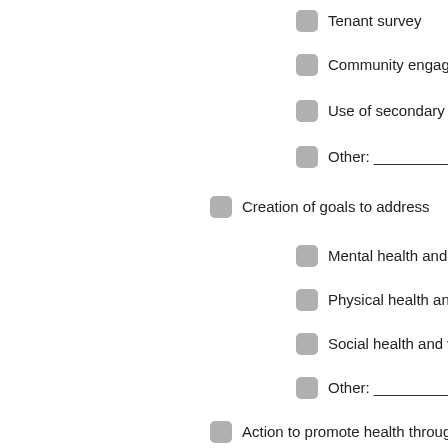Tenant survey
Community engagement
Use of secondary data
Other: ______________
Creation of goals to address
Mental health and well-being
Physical health and well-being
Social health and well-being
Other: ______________
Action to promote health through
Acoustic comfort
Biophilic design
Community development